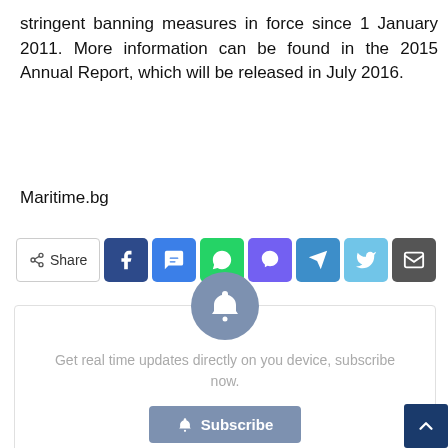stringent banning measures in force since 1 January 2011. More information can be found in the 2015 Annual Report, which will be released in July 2016.
Maritime.bg
[Figure (infographic): Social share bar with Share button, Facebook, Messenger, WhatsApp, Viber, Telegram, Twitter, and Email icon buttons]
[Figure (infographic): Subscribe notification box with bell icon circle, text 'Get real time updates directly on you device, subscribe now.' and a Subscribe button]